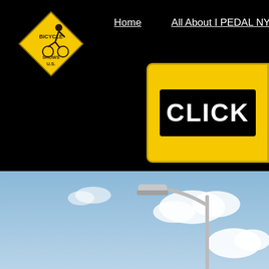[Figure (logo): Bicycle Shows U.S. yellow diamond-shaped logo with cyclist icon in top-left of black header]
[Figure (screenshot): Navigation bar with Home and All About I PEDAL NY links on black background]
[Figure (infographic): Yellow rounded rectangle banner with black inner box containing white bold text 'CLICK' partially visible on right side]
[Figure (photo): Street lamp against blue sky with white clouds in lower portion of page]